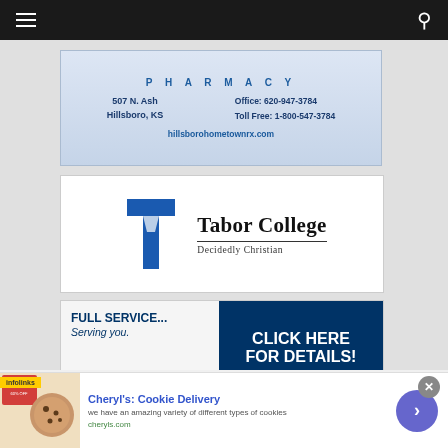[Figure (infographic): Navigation bar with hamburger menu icon on left and search icon on right, dark background]
[Figure (infographic): Pharmacy advertisement: 'PHARMACY' header text, address '507 N. Ash, Hillsboro, KS', Office: 620-947-3784, Toll Free: 1-800-547-3784, hillsborohometownrx.com. Light blue gradient background.]
[Figure (logo): Tabor College advertisement with blue T logo on left, 'Tabor College' in large serif text, 'Decidedly Christian' tagline below, white background]
[Figure (infographic): Great Plains Federal Credit Union advertisement. Left side white: 'FULL SERVICE... Serving you.' with green banner logo. Right side dark blue: 'CLICK HERE FOR DETAILS!' and phone number '620-947-3933']
[Figure (infographic): Bottom banner ad: Cheryl's Cookie Delivery - 'we have an amazing variety of different types of cookies', cheryls.com, with cookie image on left and blue arrow button on right]